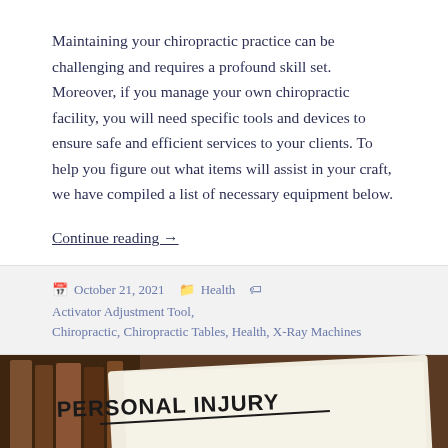Maintaining your chiropractic practice can be challenging and requires a profound skill set. Moreover, if you manage your own chiropractic facility, you will need specific tools and devices to ensure safe and efficient services to your clients. To help you figure out what items will assist in your craft, we have compiled a list of necessary equipment below.
Continue reading →
October 21, 2021  Health  Activator Adjustment Tool, Chiropractic, Chiropractic Tables, Health, X-Ray Machines
[Figure (photo): Photo showing a rolled document reading 'PERSONAL INJURY' with books in the background, and cursive text at the bottom reading 'What Are the Stages of a']